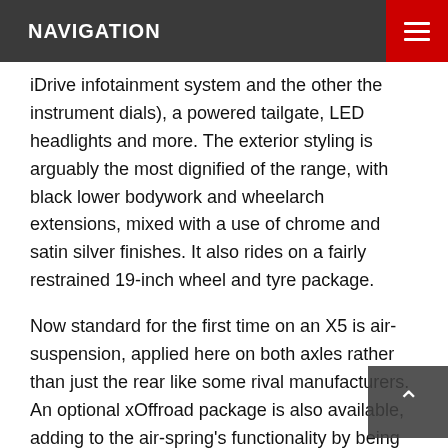NAVIGATION
iDrive infotainment system and the other the instrument dials), a powered tailgate, LED headlights and more. The exterior styling is arguably the most dignified of the range, with black lower bodywork and wheelarch extensions, mixed with a use of chrome and satin silver finishes. It also rides on a fairly restrained 19-inch wheel and tyre package.
Now standard for the first time on an X5 is air-suspension, applied here on both axles rather than just the rear like some rival manufacturers. An optional xOffroad package is also available, adding to the air-spring's functionality by being height adjustable, along with the addition of various off-road modes.
M Sport models add a further $4500 to the price, bringing 20-inch wheels and tyres, more aggressive styling elements, further application of body-coloured parts around the wheels and...